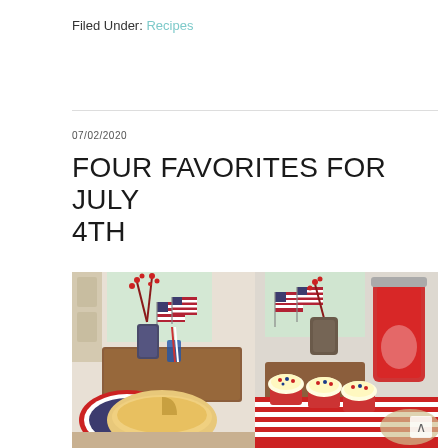Filed Under: Recipes
FOUR FAVORITES FOR JULY 4TH
07/02/2020
[Figure (photo): Two side-by-side photos of a July 4th table setting with American flags, red/white/blue decorations, a pie on a patriotic plate (left), and cupcakes with red/white/blue sprinkles and a red beverage dispenser (right).]